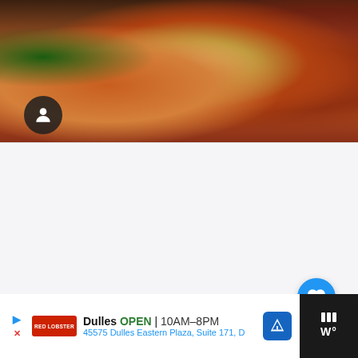[Figure (photo): Food photo showing cooked lobster tails and seafood on a plate, viewed from above. A small circular user avatar icon is overlaid on the bottom-left of the photo.]
[Figure (other): White/light gray content area with like button (blue circle with heart icon), like count '10', share button (white circle with share icon), and a 'What's Next' recommendation panel showing '26 Best Restaurants ...' with a thumbnail.]
10
WHAT'S NEXT → 26 Best Restaurants ...
Dulles OPEN | 10AM–8PM 45575 Dulles Eastern Plaza, Suite 171, D